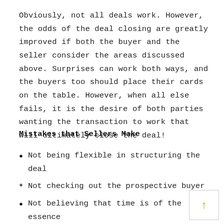Obviously, not all deals work. However, the odds of the deal closing are greatly improved if both the buyer and the seller consider the areas discussed above. Surprises can work both ways, and the buyers too should place their cards on the table. However, when all else fails, it is the desire of both parties wanting the transaction to work that will ultimately close the deal!
Mistakes that Sellers Make
Not being flexible in structuring the deal
Not checking out the prospective buyer
Not believing that time is of the essence